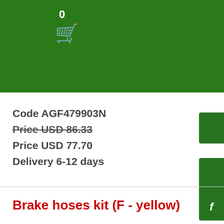0
Code AGF479903N
Price USD 86.33
Price USD 77.70
Delivery 6-12 days
Brake hoses kit (F - yellow)